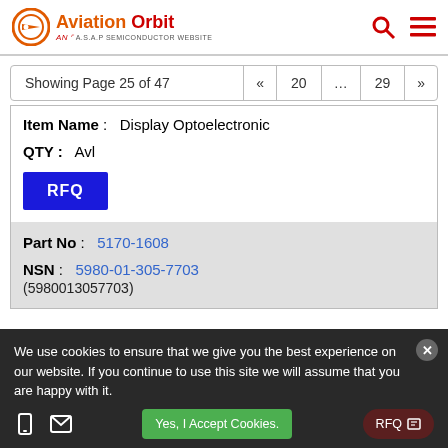Aviation Orbit - AN A.S.A.P SEMICONDUCTOR WEBSITE
Showing Page 25 of 47  «  20  ...  29  »
Item Name: Display Optoelectronic
QTY: Avl
RFQ
Part No: 5170-1608
NSN: 5980-01-305-7703 (5980013057703)
We use cookies to ensure that we give you the best experience on our website. If you continue to use this site we will assume that you are happy with it.
Yes, I Accept Cookies.
RFQ